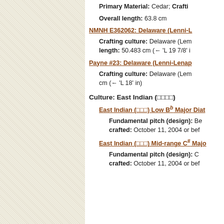Primary Material: Cedar; Crafti...
Overall length: 63.8 cm
NMNH E362062: Delaware (Lenni-L...
Crafting culture: Delaware (Lem... length: 50.483 cm (← 'L 19 7/8' i...
Payne #23: Delaware (Lenni-Lenap...
Crafting culture: Delaware (Lem... cm (← 'L 18' in)
Culture: East Indian (□□□□)
East Indian (□□□) Low Bb Major Diat...
Fundamental pitch (design): Be... crafted: October 11, 2004 or bef...
East Indian (□□□) Mid-range C# Majo...
Fundamental pitch (design): C... crafted: October 11, 2004 or bef...